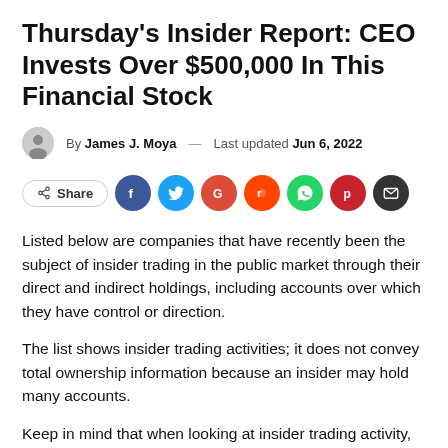Thursday's Insider Report: CEO Invests Over $500,000 In This Financial Stock
By James J. Moya — Last updated Jun 6, 2022
[Figure (infographic): Social share bar with Share button and social media icons: Facebook, Twitter, Google, Reddit, WhatsApp, Pinterest, Email]
Listed below are companies that have recently been the subject of insider trading in the public market through their direct and indirect holdings, including accounts over which they have control or direction.
The list shows insider trading activities; it does not convey total ownership information because an insider may hold many accounts.
Keep in mind that when looking at insider trading activity, buying activity may reflect a security's perceived value. Selling activity may or may not be related to the valuation of a stock;